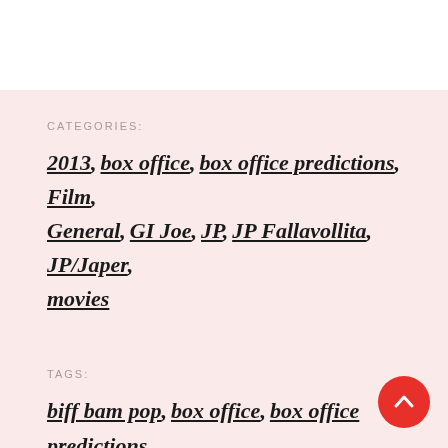CATEGORIES:
2013, box office, box office predictions, Film, General, GI Joe, JP, JP Fallavollita, JP/Japer, movies
TAGS:
biff bam pop, box office, box office predictions, bruce campbell, Danny Boyle, evil dead, G.I. Joe: Retaliation, JP, jp fallavollita, JP/Japer, Jurassic Park 3D, movies, Olympus Has Fallen,